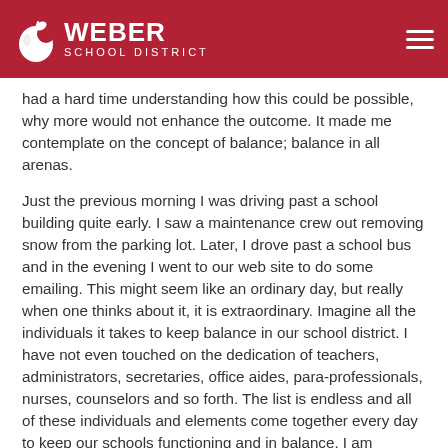Weber School District
had a hard time understanding how this could be possible, why more would not enhance the outcome. It made me contemplate on the concept of balance; balance in all arenas.
Just the previous morning I was driving past a school building quite early. I saw a maintenance crew out removing snow from the parking lot. Later, I drove past a school bus and in the evening I went to our web site to do some emailing. This might seem like an ordinary day, but really when one thinks about it, it is extraordinary. Imagine all the individuals it takes to keep balance in our school district. I have not even touched on the dedication of teachers, administrators, secretaries, office aides, para-professionals, nurses, counselors and so forth. The list is endless and all of these individuals and elements come together every day to keep our schools functioning and in balance. I am indebted to each and every one of you. It is a minor miracle on a daily basis.
I then thought of the balance one attains in receiving a public education. I am a great fan of our school system, although I firmly believe in choice and that parents know what is best for their child, I can't imagine one could find a better opportunity to bring balance